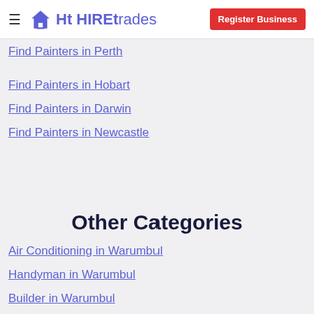HIREtrades | Register Business
Find Painters in Perth
Find Painters in Hobart
Find Painters in Darwin
Find Painters in Newcastle
Other Categories
Air Conditioning in Warumbul
Handyman in Warumbul
Builder in Warumbul